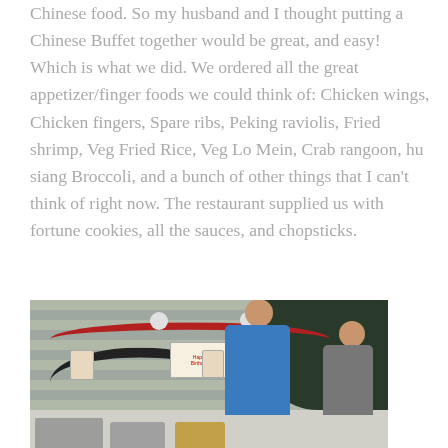Chinese food. So my husband and I thought putting a Chinese Buffet together would be great, and easy! Which is what we did. We ordered all the great appetizer/finger foods we could think of: Chicken wings, Chicken fingers, Spare ribs, Peking raviolis, Fried shrimp, Veg Fried Rice, Veg Lo Mein, Crab rangoon, hu siang Broccoli, and a bunch of other things that I can't think of right now. The restaurant supplied us with fortune cookies, all the sauces, and chopsticks.
[Figure (photo): Outdoor birthday party setup against a house with gray siding. Red flower garland and black paper chain hang across the wall. White pom-pom ball decorations hang from the garland. A Happy Birthday sign is visible on the wall. Two people are standing/sitting near a table with chafing dishes and food trays. Trees visible in upper right background.]